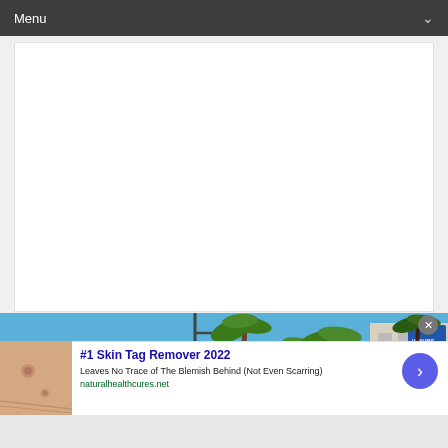Menu
[Figure (photo): White blank content area above a photo of palm trees against a blue sky with a building on the right, infolinks badge in lower left]
infolinks
[Figure (photo): Close-up photo of skin with small skin tags/blemishes]
#1 Skin Tag Remover 2022
Leaves No Trace of The Blemish Behind (Not Even Scarring)
naturalhealthcures.net